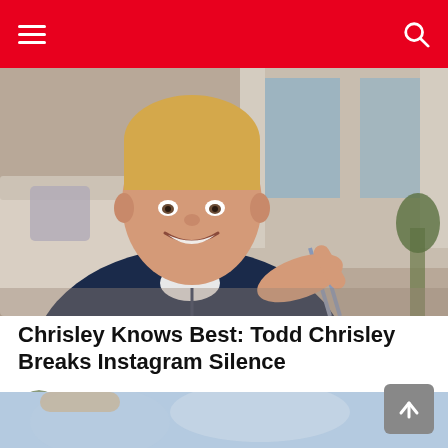Navigation header with hamburger menu and search icon
[Figure (photo): A smiling man with blonde hair wearing a dark navy blue zip-up hoodie over a white t-shirt, pointing finger toward camera, seated in a living room with a couch and curtains in the background.]
Chrisley Knows Best: Todd Chrisley Breaks Instagram Silence
by Lisa Lindsay   8 days ago
[Figure (photo): Partially visible photo at the bottom of the page, cropped.]